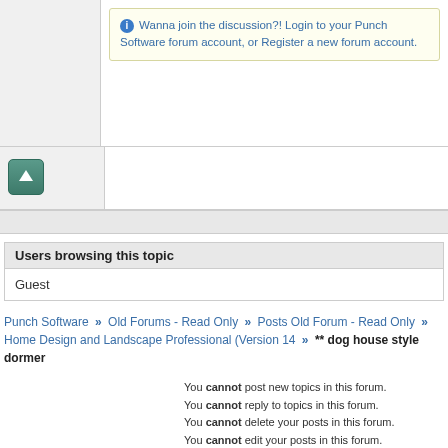Wanna join the discussion?! Login to your Punch Software forum account, or Register a new forum account.
[Figure (other): Up arrow button (scroll to top)]
Users browsing this topic
Guest
Punch Software » Old Forums - Read Only » Posts Old Forum - Read Only » Home Design and Landscape Professional (Version 14 » ** dog house style dormer
You cannot post new topics in this forum. You cannot reply to topics in this forum. You cannot delete your posts in this forum. You cannot edit your posts in this forum. You cannot create polls in this forum. You cannot vote in polls in this forum.
Privacy Policy | Powered by YAF.NET | YAF.NET © 2003-2022, Yet Another Forum.NET This page was generated in 0.033 seconds.